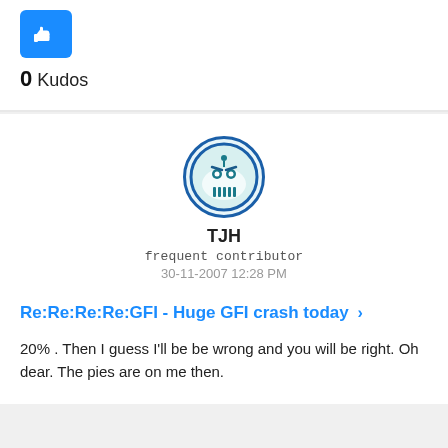[Figure (other): Blue thumbs-up kudos button icon]
0 Kudos
[Figure (illustration): Circular avatar icon with a cartoon angry face character in teal/blue colors with dark blue border]
TJH
frequent contributor
30-11-2007 12:28 PM
Re:Re:Re:Re:GFI - Huge GFI crash today >
20% . Then I guess I'll be be wrong and you will be right. Oh dear. The pies are on me then.